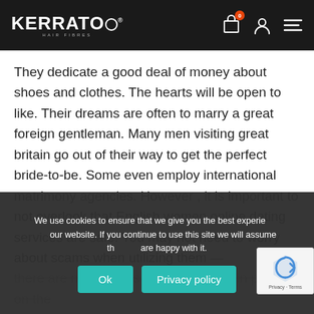KERRATO HAIR FIBRES
They dedicate a good deal of money about shoes and clothes. The hearts will be open to like. Their dreams are often to marry a great foreign gentleman. Many men visiting great britain go out of their way to get the perfect bride-to-be. Some even employ international matrimony agencies. However , it is important to not overlook that English women online dating services are safe. You may not need to worry about scams when utilizing them — there are many anti-scam restrictions in place on the
We use cookies to ensure that we give you the best experience on our website. If you continue to use this site we will assume that you are happy with it.